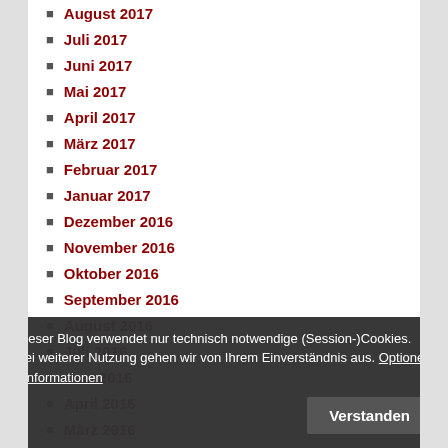August 2017
Juli 2017
Juni 2017
Mai 2017
April 2017
März 2017
Februar 2017
Januar 2017
Dezember 2016
November 2016
Oktober 2016
September 2016
August 2016
Juli 2016
Juni 2016
April 2016
März 2016
Februar 2016
Januar 2016
Dezember 2015
November 2015
Oktober 2015
September 2015
Dieser Blog verwendet nur technisch notwendige (Session-)Cookies. Bei weiterer Nutzung gehen wir von Ihrem Einverständnis aus. Optionen / Informationen